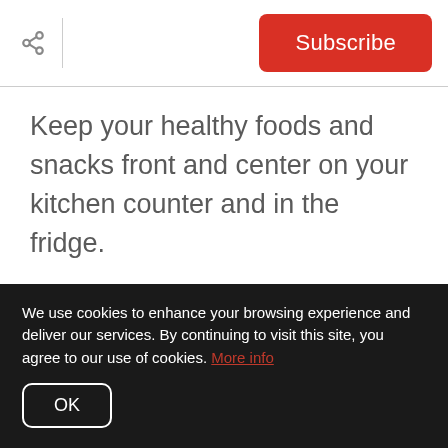Subscribe
Keep your healthy foods and snacks front and center on your kitchen counter and in the fridge.
Here are some great options:
For cooking meals:
Cut up vegetables
We use cookies to enhance your browsing experience and deliver our services. By continuing to visit this site, you agree to our use of cookies. More info
OK